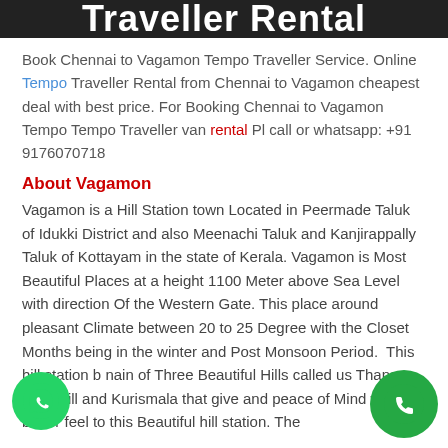Traveller Rental
Book Chennai to Vagamon Tempo Traveller Service. Online Tempo Traveller Rental from Chennai to Vagamon cheapest deal with best price. For Booking Chennai to Vagamon Tempo Tempo Traveller van rental Pl call or whatsapp: +91 9176070718
About Vagamon
Vagamon is a Hill Station town Located in Peermade Taluk of Idukki District and also Meenachi Taluk and Kanjirappally Taluk of Kottayam in the state of Kerala. Vagamon is Most Beautiful Places at a height 1100 Meter above Sea Level with direction Of the Western Gate. This place around pleasant Climate between 20 to 25 Degree with the Closet Months being in the winter and Post Monsoon Period. This hill station b... nain of Three Beautiful Hills called us Thanga... ugan hill and Kurismala that give and peace of... Mind with better feel to this Beautiful hill station. The